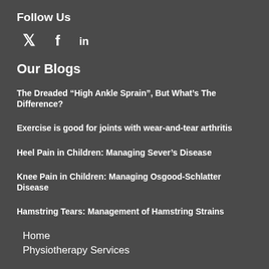Follow Us
[Figure (other): Social media icons for Twitter, Facebook, and LinkedIn]
Our Blogs
The Dreaded “High Ankle Sprain”, But What’s The Difference?
Exercise is good for joints with wear-and-tear arthritis
Heel Pain in Children: Managing Sever’s Disease
Knee Pain in Children: Managing Osgood-Schlatter Disease
Hamstring Tears: Management of Hamstring Strains
Home
Physiotherapy Services